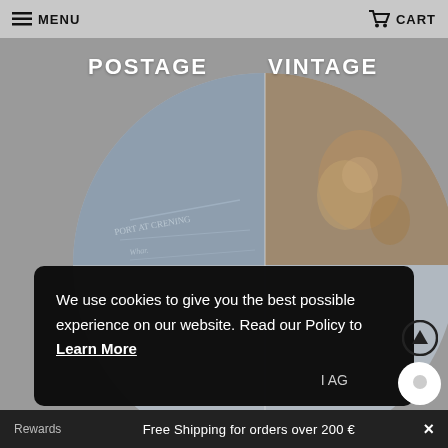MENU   CART
POSTAGE   VINTAGE
[Figure (photo): Two halves of a circle showing vintage postage/antique imagery — left half shows aged handwritten document in blue-grey tones, right half shows vintage floral/decorative imagery in brown tones. Below, a partial circle shows a dark vintage coin or medallion with engraved figures.]
We use cookies to give you the best possible experience on our website. Read our Policy to Learn More
I AG
Rewards   Free Shipping for orders over 200 €   ×